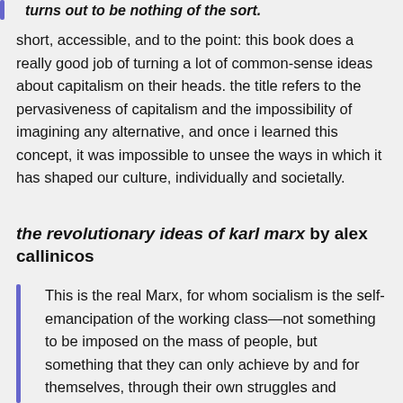turns out to be nothing of the sort.
short, accessible, and to the point: this book does a really good job of turning a lot of common-sense ideas about capitalism on their heads. the title refers to the pervasiveness of capitalism and the impossibility of imagining any alternative, and once i learned this concept, it was impossible to unsee the ways in which it has shaped our culture, individually and societally.
the revolutionary ideas of karl marx by alex callinicos
This is the real Marx, for whom socialism is the self-emancipation of the working class—not something to be imposed on the mass of people, but something that they can only achieve by and for themselves, through their own struggles and organizations.